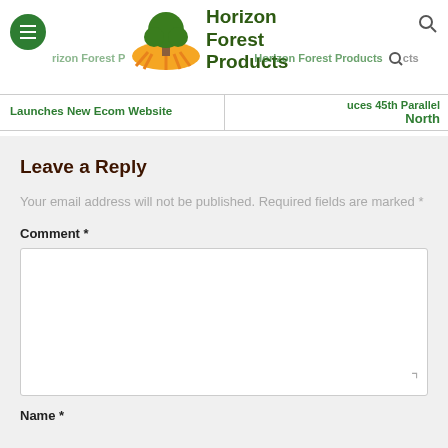Horizon Forest Products
Horizon Forest Products Launches New Ecom Website
Horizon Forest Products Introduces 45th Parallel North
Leave a Reply
Your email address will not be published. Required fields are marked *
Comment *
Name *